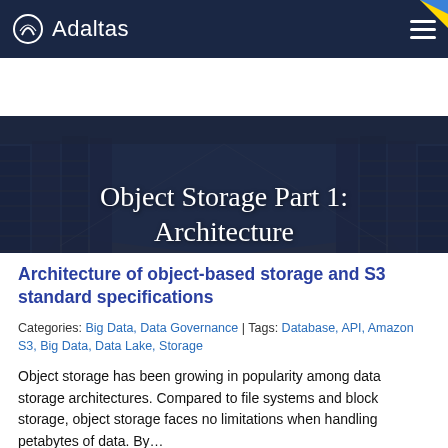Adaltas
[Figure (photo): Data center corridor with server racks on both sides, perspective shot, dark blue overlay. Title text 'Object Storage Part 1: Architecture' overlaid in white serif font.]
Architecture of object-based storage and S3 standard specifications
Categories: Big Data, Data Governance | Tags: Database, API, Amazon S3, Big Data, Data Lake, Storage
Object storage has been growing in popularity among data storage architectures. Compared to file systems and block storage, object storage faces no limitations when handling petabytes of data. By…